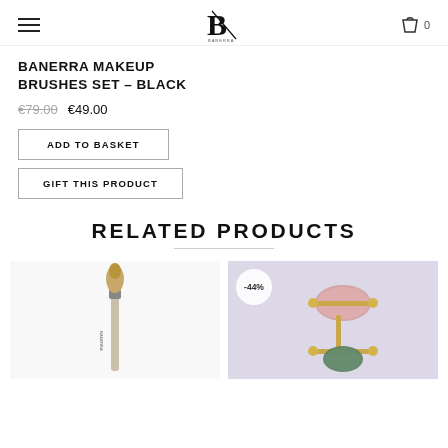BANERRA (logo) | Cart: 0
BANERRA MAKEUP BRUSHES SET – BLACK
€79.00  €49.00
ADD TO BASKET
GIFT THIS PRODUCT
RELATED PRODUCTS
[Figure (photo): A single makeup brush with gold/brown bristles and silver handle against white background]
[Figure (photo): Jade roller / facial roller set with pink and green stones on gold frame, on light purple background, with -44% discount badge]